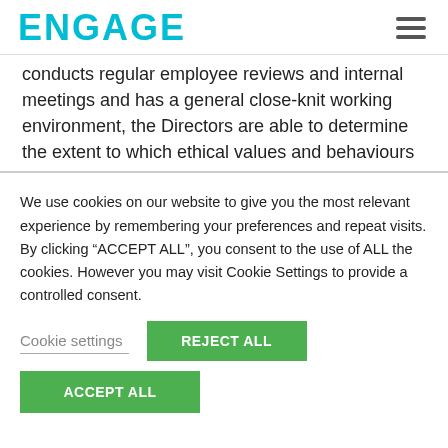ENGAGE
conducts regular employee reviews and internal meetings and has a general close-knit working environment, the Directors are able to determine the extent to which ethical values and behaviours
We use cookies on our website to give you the most relevant experience by remembering your preferences and repeat visits. By clicking “ACCEPT ALL”, you consent to the use of ALL the cookies. However you may visit Cookie Settings to provide a controlled consent.
Cookie settings
REJECT ALL
ACCEPT ALL